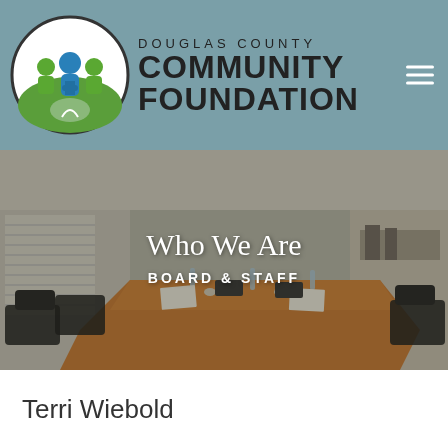[Figure (logo): Douglas County Community Foundation logo with circular emblem showing people figures and puzzle pieces in blue and green, with organization name to the right]
[Figure (photo): Conference room with long wooden table, black chairs, water bottles and glasses, blinds on windows in background. Overlaid text: 'Who We Are' and 'BOARD & STAFF']
Who We Are
BOARD & STAFF
Terri Wiebold